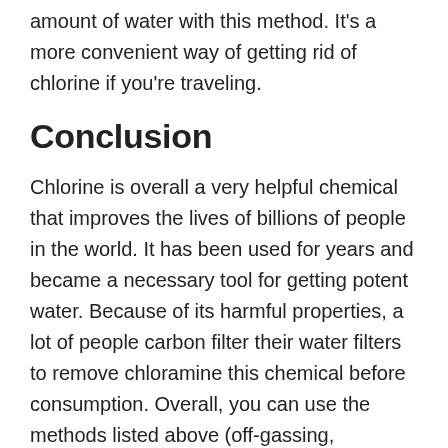amount of water with this method. It's a more convenient way of getting rid of chlorine if you're traveling.
Conclusion
Chlorine is overall a very helpful chemical that improves the lives of billions of people in the world. It has been used for years and became a necessary tool for getting potent water. Because of its harmful properties, a lot of people carbon filter their water filters to remove chloramine this chemical before consumption. Overall, you can use the methods listed above (off-gassing, distillation, and air stripping) to remove chlorine content even without the use of expensive